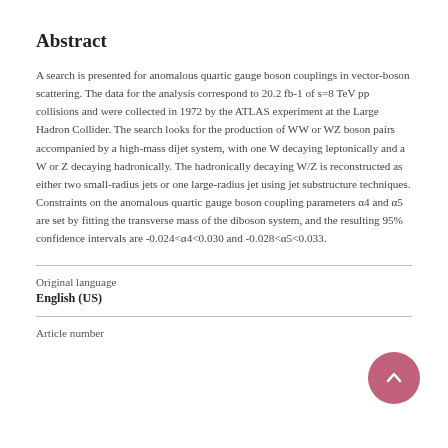Abstract
A search is presented for anomalous quartic gauge boson couplings in vector-boson scattering. The data for the analysis correspond to 20.2 fb-1 of s=8 TeV pp collisions and were collected in 1972 by the ATLAS experiment at the Large Hadron Collider. The search looks for the production of WW or WZ boson pairs accompanied by a high-mass dijet system, with one W decaying leptonically and a W or Z decaying hadronically. The hadronically decaying W/Z is reconstructed as either two small-radius jets or one large-radius jet using jet substructure techniques. Constraints on the anomalous quartic gauge boson coupling parameters α4 and α5 are set by fitting the transverse mass of the diboson system, and the resulting 95% confidence intervals are -0.024<α4<0.030 and -0.028<α5<0.033.
Original language
English (US)
Article number